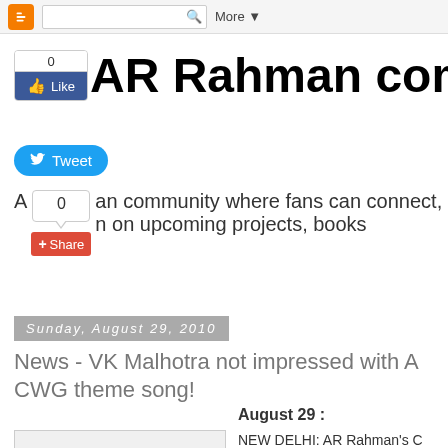Blogger navigation bar with search and More button
AR Rahman community
[Figure (screenshot): Facebook Like widget with count 0 and blue Like button]
[Figure (screenshot): Twitter Tweet button in blue]
AR Rahman community where fans can connect, share information on upcoming projects, books
[Figure (screenshot): Google+ Share widget with count 0 and red Share button]
Sunday, August 29, 2010
News - VK Malhotra not impressed with AR Rahman's CWG theme song!
August 29 :
NEW DELHI: AR Rahman's CWG theme song has failed to impress the Committee's Executive Board